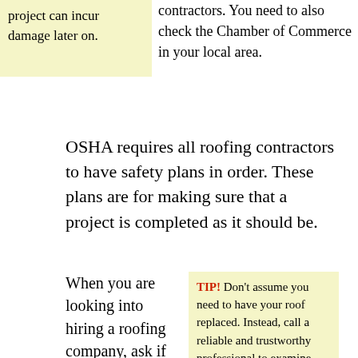project can incur damage later on.
contractors. You need to also check the Chamber of Commerce in your local area.
OSHA requires all roofing contractors to have safety plans in order. These plans are for making sure that a project is completed as it should be.
When you are looking into hiring a roofing company, ask if the people working for them are sub-contractors. If the people working at your house are not the company's own employees, it could cause liability
TIP! Don't assume you need to have your roof replaced. Instead, call a reliable and trustworthy professional to examine your roof